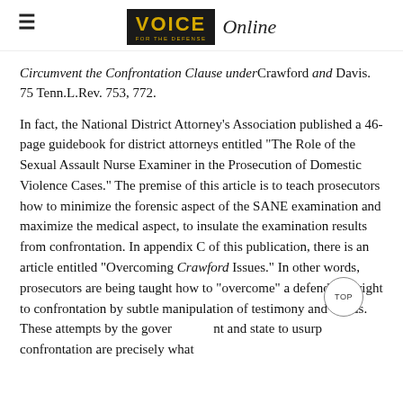VOICE Online
Circumvent the Confrontation Clause under Crawford and Davis. 75 Tenn.L.Rev. 753, 772.
In fact, the National District Attorney's Association published a 46-page guidebook for district attorneys entitled “The Role of the Sexual Assault Nurse Examiner in the Prosecution of Domestic Violence Cases.” The premise of this article is to teach prosecutors how to minimize the forensic aspect of the SANE examination and maximize the medical aspect, to insulate the examination results from confrontation. In appendix C of this publication, there is an article entitled “Overcoming Crawford Issues.” In other words, prosecutors are being taught how to “overcome” a defendant’s right to confrontation by subtle manipulation of testimony and words. These attempts by the government and state to usurp confrontation are precisely what